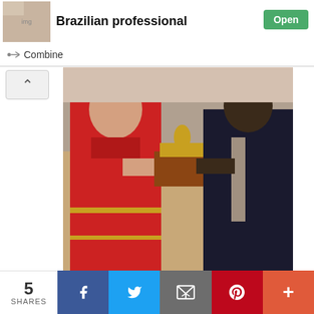[Figure (screenshot): Ad banner showing 'Brazilian professional' with a thumbnail image and green Open button]
Combine
[Figure (photo): A woman in a red saree receiving a trophy/award from a man in a dark suit at a formal ceremony]
Himani Parab date of birth is 2002 and her place of birth is India.
Himani Parab age, wiki, biography
[Figure (infographic): Social share bar showing 5 SHARES with Facebook, Twitter, Email, Pinterest, and More buttons]